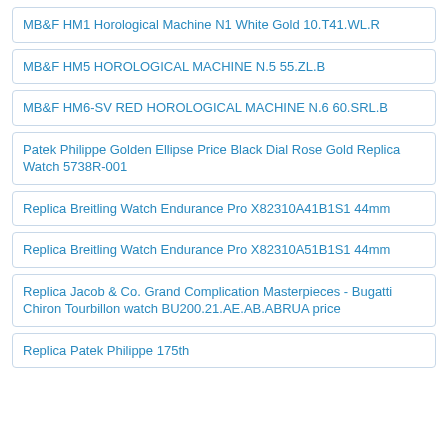MB&F HM1 Horological Machine N1 White Gold 10.T41.WL.R
MB&F HM5 HOROLOGICAL MACHINE N.5 55.ZL.B
MB&F HM6-SV RED HOROLOGICAL MACHINE N.6 60.SRL.B
Patek Philippe Golden Ellipse Price Black Dial Rose Gold Replica Watch 5738R-001
Replica Breitling Watch Endurance Pro X82310A41B1S1 44mm
Replica Breitling Watch Endurance Pro X82310A51B1S1 44mm
Replica Jacob & Co. Grand Complication Masterpieces - Bugatti Chiron Tourbillon watch BU200.21.AE.AB.ABRUA price
Replica Patek Philippe 175th